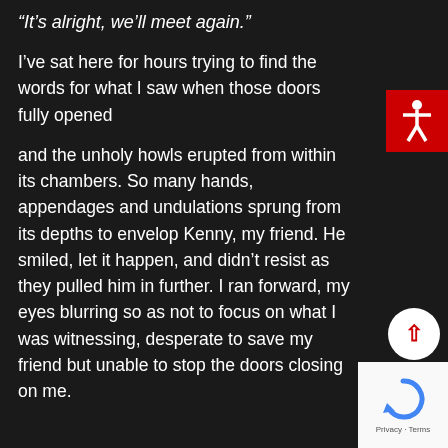“It’s alright, we’ll meet again.”
I’ve sat here for hours trying to find the words for what I saw when those doors fully opened
and the unholy howls erupted from within its chambers. So many hands, appendages and undulations sprung from its depths to envelop Kenny, my friend. He smiled, let it happen, and didn’t resist as they pulled him in further. I ran forward, my eyes blurring so as not to focus on what I was witnessing, desperate to save my friend but unable to stop the doors closing on me.
[Figure (illustration): Red accessibility icon button with white human figure silhouette]
[Figure (illustration): White circular scroll-up button with red upward arrow]
[Figure (illustration): reCAPTCHA widget box with Privacy and Terms links]